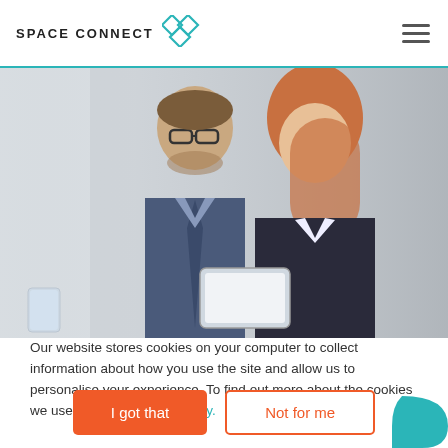SPACE CONNECT
[Figure (photo): Two business professionals, a man with glasses in a dark suit and a woman with reddish hair in a dark blazer, looking at a tablet and smiling.]
Our website stores cookies on your computer to collect information about how you use the site and allow us to personalise your experience. To find out more about the cookies we use, see our Privacy Policy.
I got that
Not for me